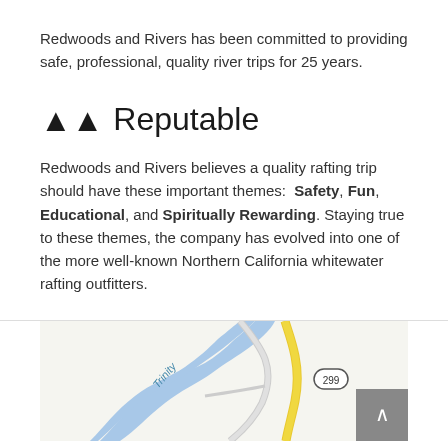Redwoods and Rivers has been committed to providing safe, professional, quality river trips for 25 years.
🌲🌲 Reputable
Redwoods and Rivers believes a quality rafting trip should have these important themes: Safety, Fun, Educational, and Spiritually Rewarding. Staying true to these themes, the company has evolved into one of the more well-known Northern California whitewater rafting outfitters.
[Figure (map): Google Maps screenshot showing Trinity river area with Route 299 marked]